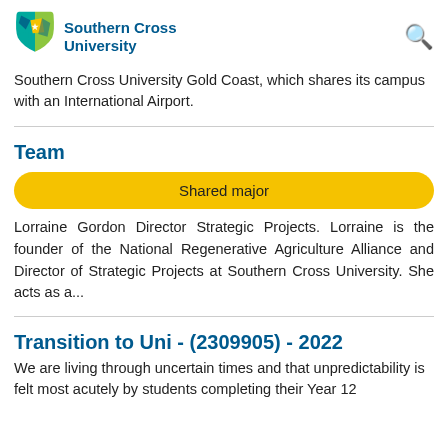[Figure (logo): Southern Cross University shield logo with star and abstract shapes in blue, teal, yellow, and green]
Southern Cross University
Southern Cross University Gold Coast, which shares its campus with an International Airport.
Team
Shared major
Lorraine Gordon Director Strategic Projects. Lorraine is the founder of the National Regenerative Agriculture Alliance and Director of Strategic Projects at Southern Cross University. She acts as a...
Transition to Uni - (2309905) - 2022
We are living through uncertain times and that unpredictability is felt most acutely by students completing their Year 12